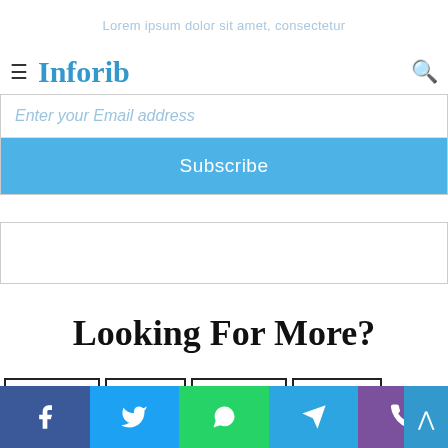Lorem ipsum dolor sit amet, consectetur
Inforib
[Figure (screenshot): Email subscription box with placeholder text 'Enter your Email address' and a blue Subscribe button]
[Figure (other): Empty advertisement or banner box]
Looking For More?
Automobile
Business
Career Tips
Celebrities
Social share bar: Facebook, Twitter, WhatsApp, Telegram, Viber